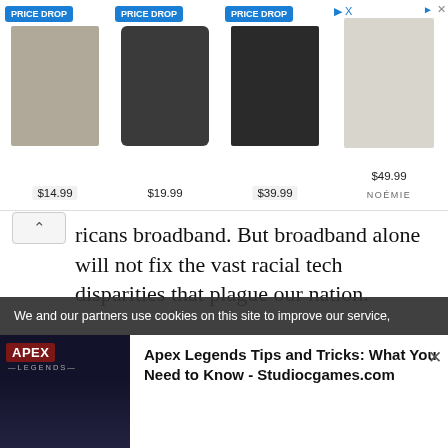[Figure (screenshot): Advertisement banner with four product items showing PRICE DROP badges and prices: $14.99 (key fob), $19.99 (AirPods case), $39.99 (wallet), $49.99 (phone case). NOÉMIE brand shown on right side.]
ricans broadband. But broadband alone will not fix the vast racial tech disparities that plague our nation.
Under COVID, school districts and mayors have hastily amassed devices with CARES Act monies, hoping this will solve the access issue for students. Often, they are doing this without a plan for sustainability. What happens when the CARES dollars
We and our partners use cookies on this site to improve our service,
[Figure (screenshot): Bottom advertisement for Apex Legends Tips and Tricks: What You Need to Know - Studiocgames.com. Shows Apex Legends imagery on left with red label, and ad text on right.]